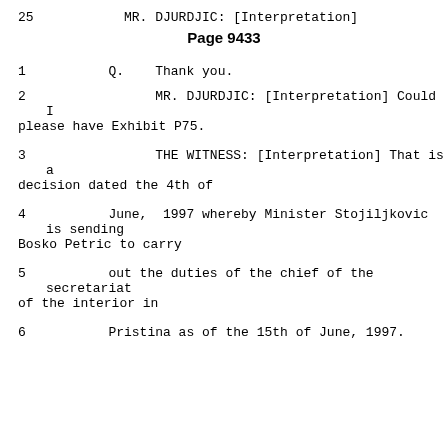25    MR. DJURDJIC: [Interpretation]
Page 9433
1    Q.   Thank you.
2         MR. DJURDJIC: [Interpretation] Could I please have Exhibit P75.
3         THE WITNESS: [Interpretation] That is a decision dated the 4th of
4    June,  1997 whereby Minister Stojiljkovic is sending Bosko Petric to carry
5    out the duties of the chief of the secretariat of the interior in
6    Pristina as of the 15th of June, 1997.